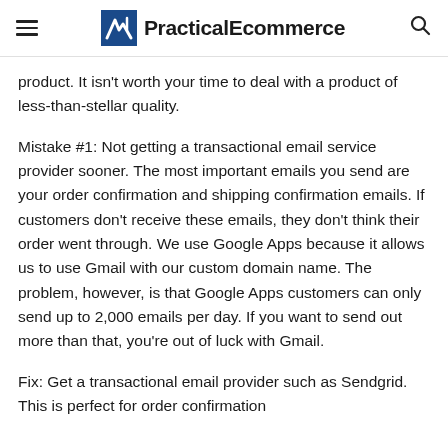≡  PracticalEcommerce  🔍
product. It isn't worth your time to deal with a product of less-than-stellar quality.
Mistake #1: Not getting a transactional email service provider sooner. The most important emails you send are your order confirmation and shipping confirmation emails. If customers don't receive these emails, they don't think their order went through. We use Google Apps because it allows us to use Gmail with our custom domain name. The problem, however, is that Google Apps customers can only send up to 2,000 emails per day. If you want to send out more than that, you're out of luck with Gmail.
Fix: Get a transactional email provider such as Sendgrid. This is perfect for order confirmation